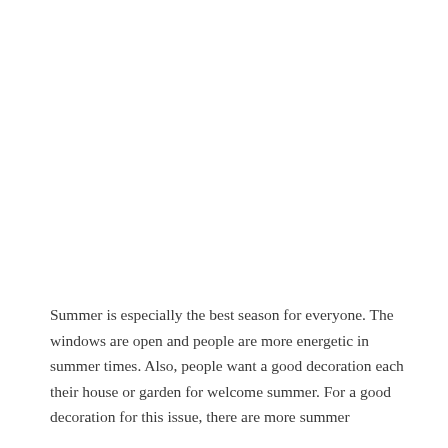Summer is especially the best season for everyone. The windows are open and people are more energetic in summer times. Also, people want a good decoration each their house or garden for welcome summer. For a good decoration for this issue, there are more summer